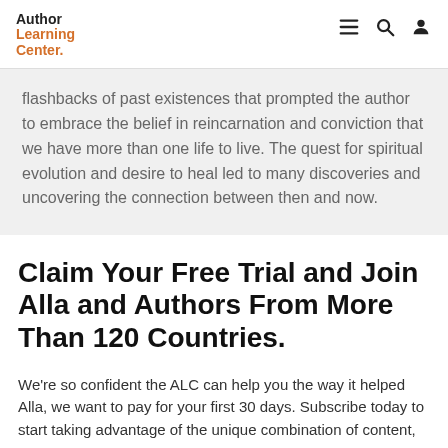Author Learning Center
flashbacks of past existences that prompted the author to embrace the belief in reincarnation and conviction that we have more than one life to live. The quest for spiritual evolution and desire to heal led to many discoveries and uncovering the connection between then and now.
Claim Your Free Trial and Join Alla and Authors From More Than 120 Countries.
We're so confident the ALC can help you the way it helped Alla, we want to pay for your first 30 days. Subscribe today to start taking advantage of the unique combination of content,